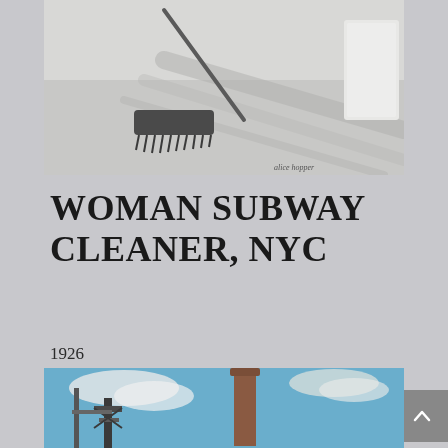[Figure (illustration): Pencil or charcoal sketch of a scrub brush with handle, used for cleaning subway floors, on a light background with artist signature visible]
WOMAN SUBWAY CLEANER, NYC
1926
Watercolor
Held in the Joan Sanger-Hoppe Collection
[Figure (illustration): Watercolor painting depicting industrial scene with a tall brick smokestack, blue sky with clouds, and construction or utility structures in the foreground]